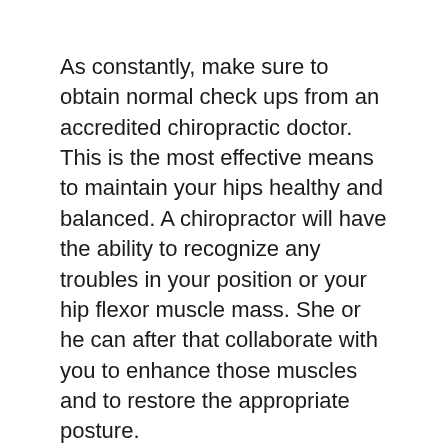As constantly, make sure to obtain normal check ups from an accredited chiropractic doctor. This is the most effective means to maintain your hips healthy and balanced. A chiropractor will have the ability to recognize any troubles in your position or your hip flexor muscle mass. She or he can after that collaborate with you to enhance those muscles and to restore the appropriate posture.
Some people experience signs comparable to those described above. This may include an ache or discomfort in the buttock, hips, groin, or knee. Other individuals might experience pins and needles or a tingling